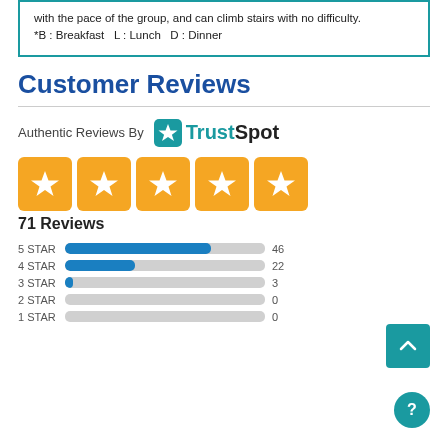with the pace of the group, and can climb stairs with no difficulty. *B : Breakfast  L : Lunch  D : Dinner
Customer Reviews
[Figure (logo): TrustSpot logo with text 'Authentic Reviews By TrustSpot']
[Figure (infographic): Five orange star rating boxes showing 5-star rating with 71 Reviews]
71 Reviews
[Figure (bar-chart): Star ratings breakdown]